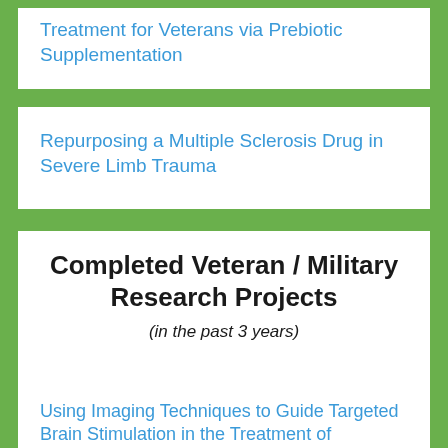Treatment for Veterans via Prebiotic Supplementation
Repurposing a Multiple Sclerosis Drug in Severe Limb Trauma
Completed Veteran / Military Research Projects
(in the past 3 years)
Using Imaging Techniques to Guide Targeted Brain Stimulation in the Treatment of Depression and Post-